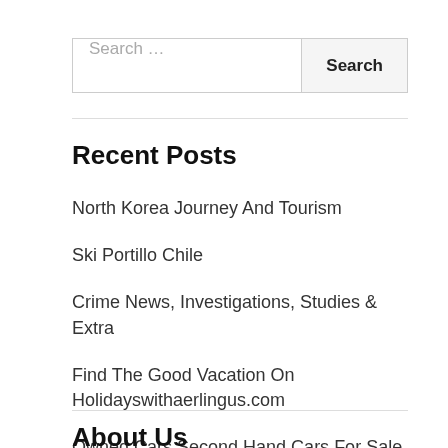Search …
Recent Posts
North Korea Journey And Tourism
Ski Portillo Chile
Crime News, Investigations, Studies & Extra
Find The Good Vacation On Holidayswithaerlingus.com
Owned Cars Second Hand Cars For Sale
About Us